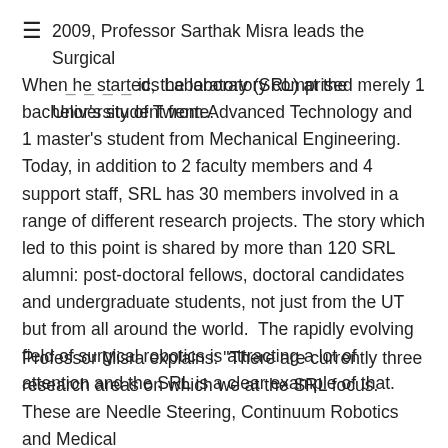≡   2009, Professor Sarthak Misra leads the Surgical ..... ics Laboratory (SRL) at the University of Twente.
When he started, the laboratory comprised merely 1 bachelor's student from Advanced Technology and 1 master's student from Mechanical Engineering. Today, in addition to 2 faculty members and 4 support staff, SRL has 30 members involved in a range of different research projects. The story which led to this point is shared by more than 120 SRL alumni: post-doctoral fellows, doctoral candidates and undergraduate students, not just from the UT but from all around the world.  The rapidly evolving field of surgical robotics is attracting a lot of attention and the SRL is a clear example of that.
Professor Misra explains: "There are currently three research areas on which we at the SRL focus. These are Needle Steering, Continuum Robotics and Medical